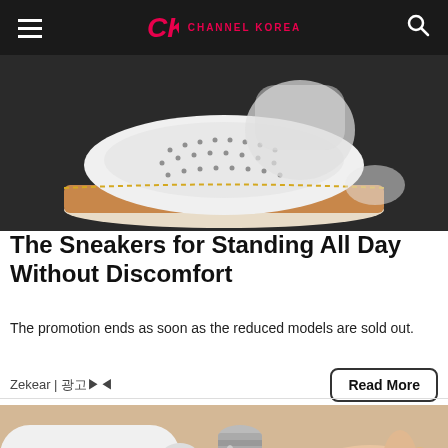Channel Korea
[Figure (photo): Close-up photo of a white sneaker with perforated upper and brown/tan midsole on dark carpet]
The Sneakers for Standing All Day Without Discomfort
The promotion ends as soon as the reduced models are sold out.
Zekear | 광고 | Read More
[Figure (photo): Close-up photo of hands holding a small glass vial or tube, light background]